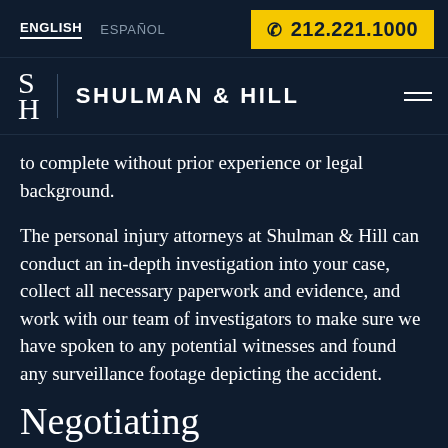ENGLISH  ESPAÑOL  212.221.1000
[Figure (logo): Shulman & Hill law firm logo with SH monogram and firm name]
to complete without prior experience or legal background.
The personal injury attorneys at Shulman & Hill can conduct an in-depth investigation into your case, collect all necessary paperwork and evidence, and work with our team of investigators to make sure we have spoken to any potential witnesses and found any surveillance footage depicting the accident.
Negotiating